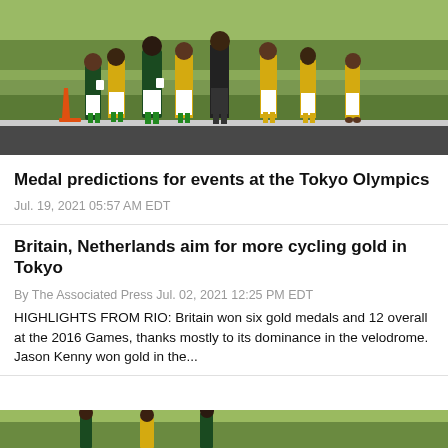[Figure (photo): Athletes in green and yellow uniforms (South Africa) walking on a road, with orange traffic cones visible, at what appears to be an Olympic venue.]
Medal predictions for events at the Tokyo Olympics
Jul. 19, 2021 05:57 AM EDT
Britain, Netherlands aim for more cycling gold in Tokyo
By The Associated Press Jul. 02, 2021 12:25 PM EDT
HIGHLIGHTS FROM RIO: Britain won six gold medals and 12 overall at the 2016 Games, thanks mostly to its dominance in the velodrome. Jason Kenny won gold in the...
[Figure (photo): Partial photo visible at bottom of page, appears to show athletes outdoors in green setting.]